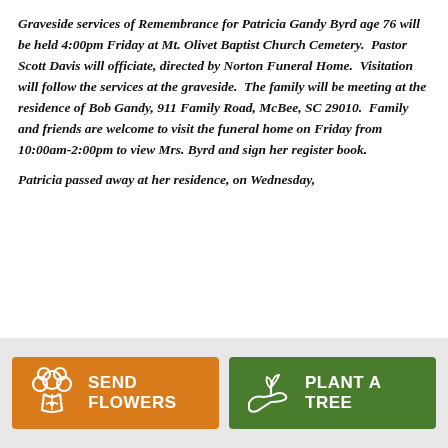Graveside services of Remembrance for Patricia Gandy Byrd age 76 will be held 4:00pm Friday at Mt. Olivet Baptist Church Cemetery.  Pastor Scott Davis will officiate, directed by Norton Funeral Home.  Visitation will follow the services at the graveside.  The family will be meeting at the residence of Bob Gandy, 911 Family Road, McBee, SC 29010.  Family and friends are welcome to visit the funeral home on Friday from 10:00am-2:00pm to view Mrs. Byrd and sign her register book.
Patricia passed away at her residence, on Wednesday,
[Figure (other): Two buttons at the bottom: orange 'SEND FLOWERS' button with flower bouquet icon, and green 'PLANT A TREE' button with plant/hand icon.]